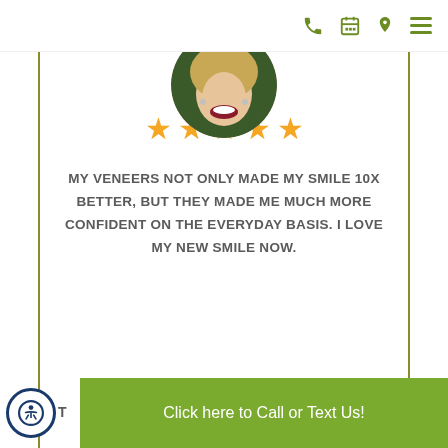Navigation bar with phone, calendar, location, and menu icons
[Figure (photo): Circular cropped photo of a smiling woman with blonde hair and white teeth, showing from chin to top of head.]
[Figure (infographic): Five gold/yellow star rating icons in a row indicating a 5-star review.]
MY VENEERS NOT ONLY MADE MY SMILE 10X BETTER, BUT THEY MADE ME MUCH MORE CONFIDENT ON THE EVERYDAY BASIS. I LOVE MY NEW SMILE NOW.
T
[Figure (screenshot): Green call-to-action button overlay reading 'Click here to Call or Text Us!']
[Figure (other): Accessibility icon button (person in circle) at bottom left]